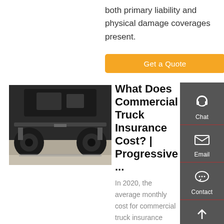both primary liability and physical damage coverages present.
Get a Quote
[Figure (photo): Underside/undercarriage view of a commercial truck]
What Does Commercial Truck Insurance Cost? | Progressive ...
In 2020, the average monthly cost for commercial truck insurance ranged from $640 for specialty truckers to $982 for transport truckers. Learn what factors affect your commercial